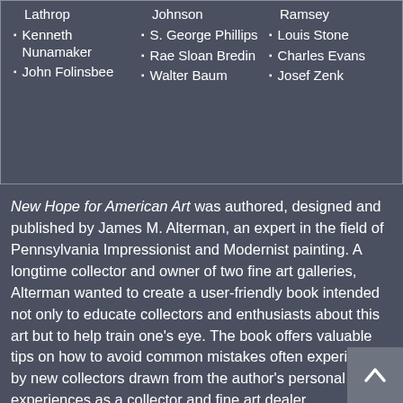Lathrop
Kenneth Nunamaker
John Folinsbee
Johnson
S. George Phillips
Rae Sloan Bredin
Walter Baum
Ramsey
Louis Stone
Charles Evans
Josef Zenk
New Hope for American Art was authored, designed and published by James M. Alterman, an expert in the field of Pennsylvania Impressionist and Modernist painting. A longtime collector and owner of two fine art galleries, Alterman wanted to create a user-friendly book intended not only to educate collectors and enthusiasts about this art but to help train one's eye. The book offers valuable tips on how to avoid common mistakes often experienced by new collectors drawn from the author's personal experiences as a collector and fine art dealer.